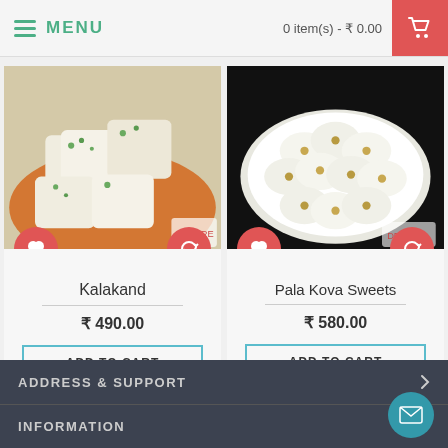MENU | 0 item(s) - ₹ 0.00
[Figure (photo): Kalakand Indian sweet on an orange plate with pistachios on top]
[Figure (photo): Pala Kova Sweets - round white milk sweets with nuts on a white plate, black background]
Kalakand
₹ 490.00
ADD TO CART
Pala Kova Sweets
₹ 580.00
ADD TO CART
ADDRESS & SUPPORT
INFORMATION